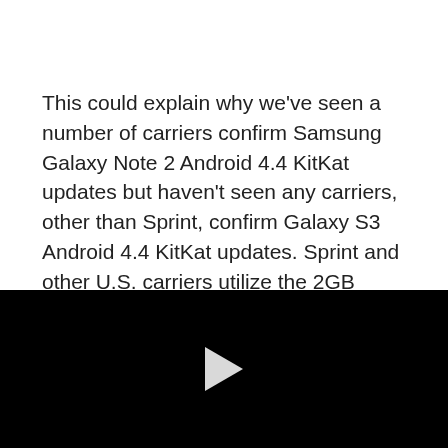This could explain why we've seen a number of carriers confirm Samsung Galaxy Note 2 Android 4.4 KitKat updates but haven't seen any carriers, other than Sprint, confirm Galaxy S3 Android 4.4 KitKat updates. Sprint and other U.S. carriers utilize the 2GB version of the Samsung Galaxy S3.
Nothing is set in stone until Samsung issues a decree but
[Figure (other): Black video player area with a white play button triangle in the center]